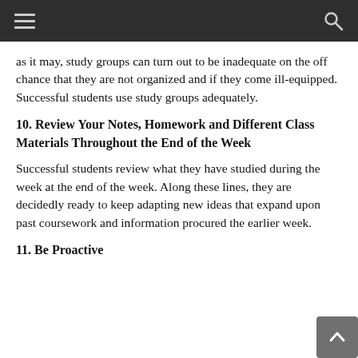as it may, study groups can turn out to be inadequate on the off chance that they are not organized and if they come ill-equipped. Successful students use study groups adequately.
10. Review Your Notes, Homework and Different Class Materials Throughout the End of the Week
Successful students review what they have studied during the week at the end of the week. Along these lines, they are decidedly ready to keep adapting new ideas that expand upon past coursework and information procured the earlier week.
11. Be Proactive